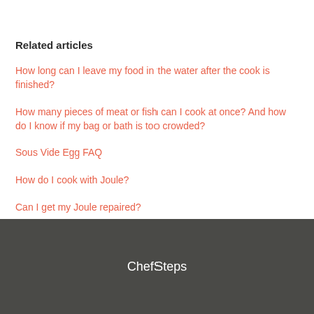Related articles
How long can I leave my food in the water after the cook is finished?
How many pieces of meat or fish can I cook at once? And how do I know if my bag or bath is too crowded?
Sous Vide Egg FAQ
How do I cook with Joule?
Can I get my Joule repaired?
ChefSteps